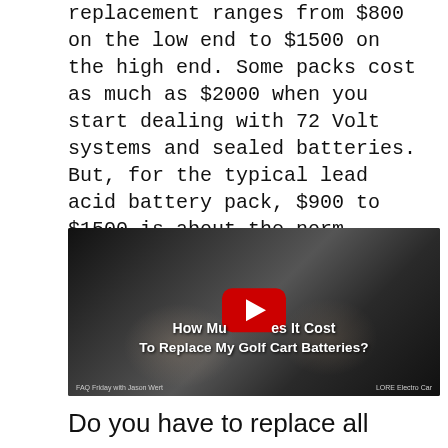replacement ranges from $800 on the low end to $1500 on the high end. Some packs cost as much as $2000 when you start dealing with 72 Volt systems and sealed batteries. But, for the typical lead acid battery pack, $900 to $1500 is about the norm.
[Figure (screenshot): YouTube video thumbnail showing elderly hands in black and white, with a red YouTube play button overlay and white bold text reading 'How Much Does It Cost To Replace My Golf Cart Batteries?' with small text 'FAQ Friday with Jason Wert' on bottom left and 'LORE Electro Car' on bottom right.]
Do you have to replace all